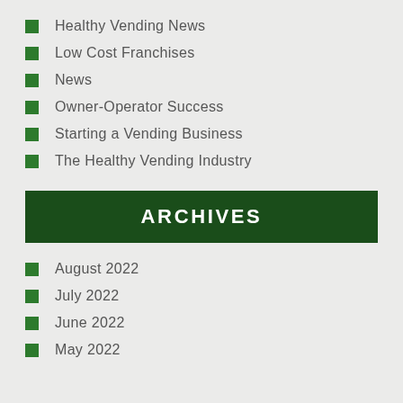Healthy Vending News
Low Cost Franchises
News
Owner-Operator Success
Starting a Vending Business
The Healthy Vending Industry
ARCHIVES
August 2022
July 2022
June 2022
May 2022